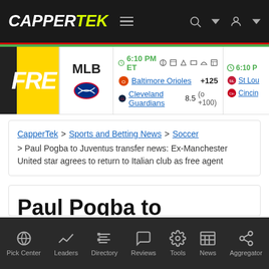CAPPERTEK
[Figure (screenshot): MLB game card showing Baltimore Orioles +125 vs Cleveland Guardians 8.5 (o +100) at 6:10 PM ET, with partial card for St Lou vs Cincin]
CapperTek > Sports and Betting News > Soccer > Paul Pogba to Juventus transfer news: Ex-Manchester United star agrees to return to Italian club as free agent
Paul Pogba to Juventus transfer news: Ex-Manchester United star
Pick Center | Leaders | Directory | Reviews | Tools | News | Aggregator